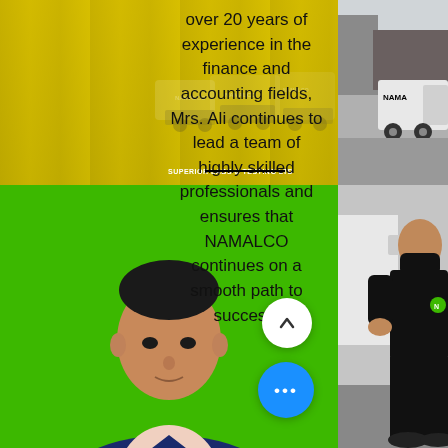over 20 years of experience in the finance and accounting fields, Mrs. Ali continues to lead a team of highly skilled professionals and ensures that NAMALCO continues on a smooth path to success.
[Figure (photo): Green background with portrait photo of a man in a dark navy suit with light pink shirt, facing forward. Also shows vehicles/trucks with NAMALCO branding in background (yellowed/tinted), a person in black uniform with mask on right side, and UI elements: a white circular up-arrow button and a blue circular dots/chat button.]